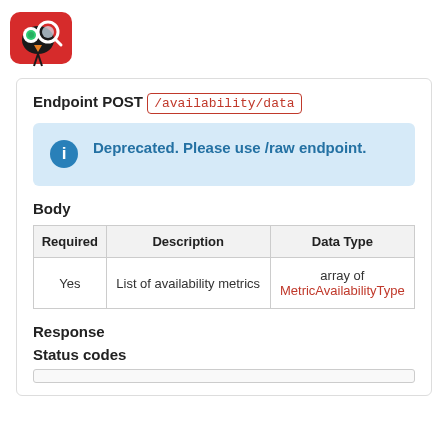[Figure (logo): Red cartoon bird logo with magnifying glass]
Endpoint POST /availability/data
Deprecated. Please use /raw endpoint.
Body
| Required | Description | Data Type |
| --- | --- | --- |
| Yes | List of availability metrics | array of MetricAvailabilityType |
Response
Status codes